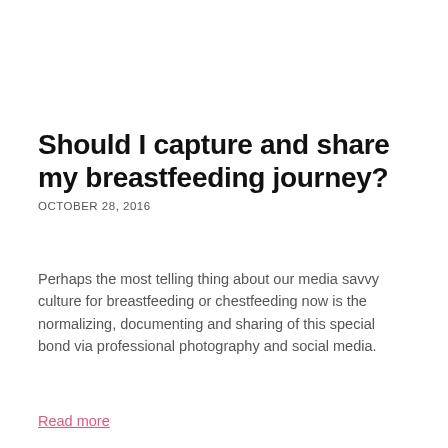Should I capture and share my breastfeeding journey?
OCTOBER 28, 2016
Perhaps the most telling thing about our media savvy culture for breastfeeding or chestfeeding now is the normalizing, documenting and sharing of this special bond via professional photography and social media.
Read more